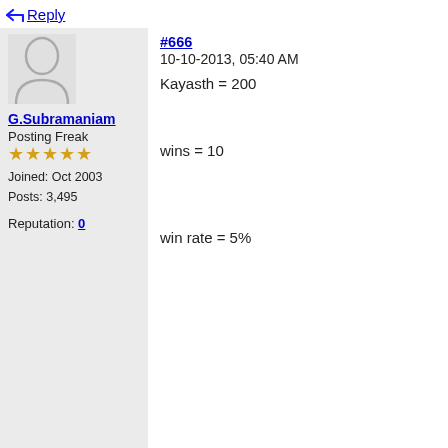↩ Reply
[Figure (illustration): Generic user avatar silhouette icon, gray outline of a person on light gray background]
G.Subramaniam
Posting Freak
★★★★★
Joined: Oct 2003
Posts: 3,495
Reputation: 0
#666
10-10-2013, 05:40 AM
Kayasth = 200
wins = 10
win rate = 5%